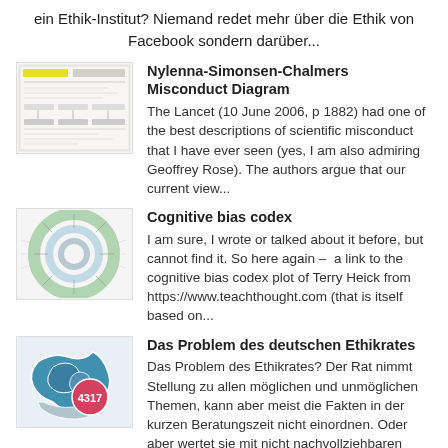ein Ethik-Institut? Niemand redet mehr über die Ethik von Facebook sondern darüber...
[Figure (illustration): Thumbnail image of the Nylenna-Simonsen-Chalmers Misconduct Diagram from The Lancet]
Nylenna-Simonsen-Chalmers Misconduct Diagram
The Lancet (10 June 2006, p 1882) had one of the best descriptions of scientific misconduct that I have ever seen (yes, I am also admiring Geoffrey Rose). The authors argue that our current view...
[Figure (illustration): Thumbnail image of the Cognitive bias codex circular diagram]
Cognitive bias codex
I am sure, I wrote or talked about it before, but cannot find it. So here again – a link to the cognitive bias codex plot of Terry Heick from https://www.teachthought.com (that is itself based on...
[Figure (illustration): Thumbnail image showing a map visualization with number 4317 and blue regions]
Das Problem des deutschen Ethikrates
Das Problem des Ethikrates? Der Rat nimmt Stellung zu allen möglichen und unmöglichen Themen, kann aber meist die Fakten in der kurzen Beratungszeit nicht einordnen. Oder aber wertet sie mit nicht nachvollziehbaren Kriterien. Das war...
RSS SPECIAL COLLECTIONS